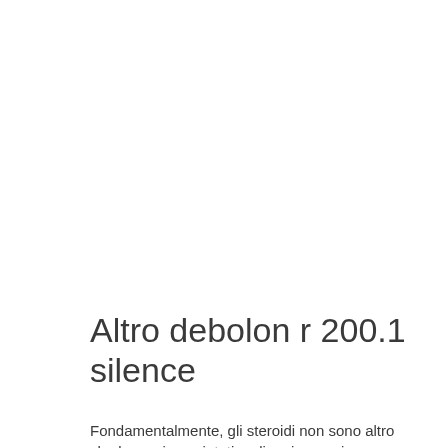Altro debolon r 200.1 silence
Fondamentalmente, gli steroidi non sono altro che la versione sintetica di vari ormoni